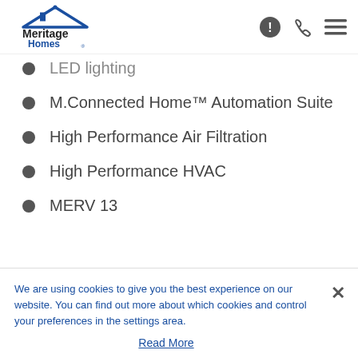Meritage Homes
LED lighting
M.Connected Home™ Automation Suite
High Performance Air Filtration
High Performance HVAC
MERV 13
We are using cookies to give you the best experience on our website. You can find out more about which cookies and control your preferences in the settings area.
Read More